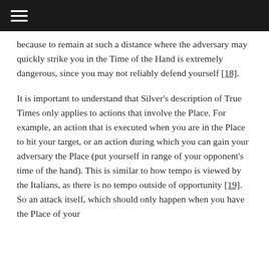☰
because to remain at such a distance where the adversary may quickly strike you in the Time of the Hand is extremely dangerous, since you may not reliably defend yourself [18].
It is important to understand that Silver's description of True Times only applies to actions that involve the Place. For example, an action that is executed when you are in the Place to hit your target, or an action during which you can gain your adversary the Place (put yourself in range of your opponent's time of the hand). This is similar to how tempo is viewed by the Italians, as there is no tempo outside of opportunity [19]. So an attack itself, which should only happen when you have the Place of your